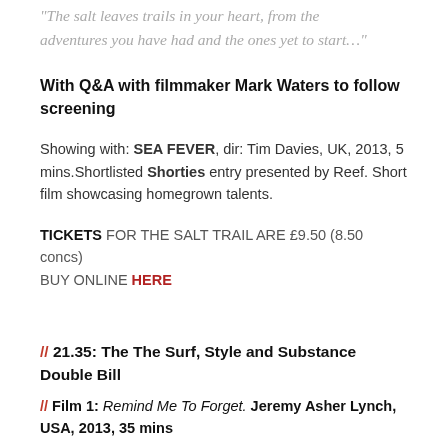"The salt leaves trails in your heart, from the adventures you have had and the ones yet to start…"
With Q&A with filmmaker Mark Waters to follow screening
Showing with: SEA FEVER, dir: Tim Davies, UK, 2013, 5 mins.Shortlisted Shorties entry presented by Reef. Short film showcasing homegrown talents.
TICKETS FOR THE SALT TRAIL ARE £9.50 (8.50 concs) BUY ONLINE HERE
// 21.35: The The Surf, Style and Substance Double Bill
// Film 1: Remind Me To Forget. Jeremy Asher Lynch, USA, 2013, 35 mins